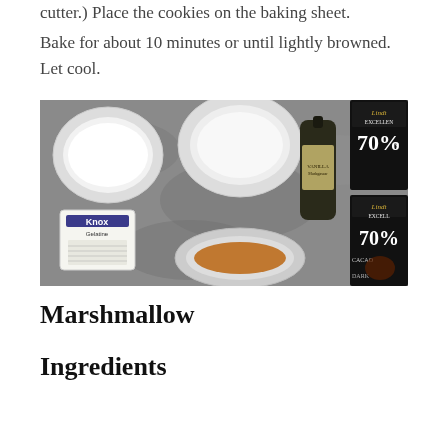cutter.) Place the cookies on the baking sheet.
Bake for about 10 minutes or until lightly browned. Let cool.
[Figure (photo): Overhead shot on a grey stone surface showing baking ingredients: a white bowl with sugar, a white bowl empty, a dark glass bottle of vanilla extract (Madagascar Vanilla), a Knox Gelatine packet, a white bowl with a honey/amber liquid, and two Lindt Excellence 70% Cacao dark chocolate bars.]
Marshmallow
Ingredients